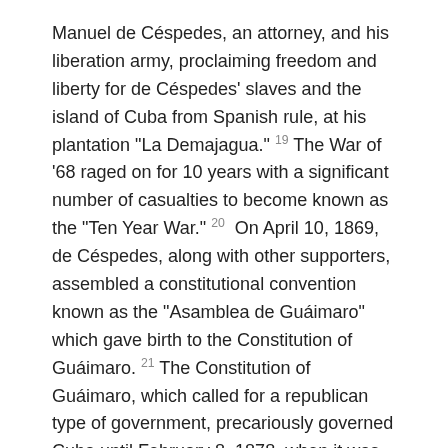Manuel de Céspedes, an attorney, and his liberation army, proclaiming freedom and liberty for de Céspedes' slaves and the island of Cuba from Spanish rule, at his plantation "La Demajagua." 19 The War of '68 raged on for 10 years with a significant number of casualties to become known as the "Ten Year War." 20  On April 10, 1869, de Céspedes, along with other supporters, assembled a constitutional convention known as the "Asamblea de Guáimaro" which gave birth to the Constitution of Guáimaro. 21 The Constitution of Guáimaro, which called for a republican type of government, precariously governed Cuba until February 8, 1878, when it was dissolved. 22 The Cuban liberators had lost their battle against Spain ending the Ten Year War.
A new struggle against Spain was launched in the early 1890's with the Cuban Revolutionary Party led by José